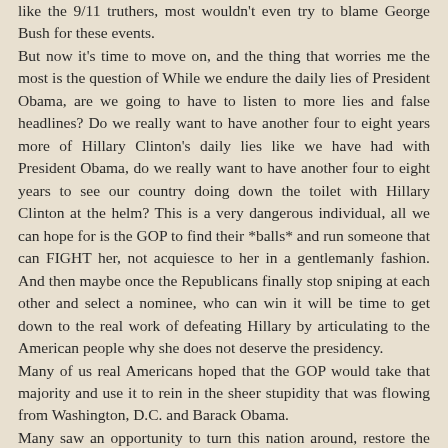like the 9/11 truthers, most wouldn't even try to blame George Bush for these events.
But now it's time to move on, and the thing that worries me the most is the question of While we endure the daily lies of President Obama, are we going to have to listen to more lies and false headlines? Do we really want to have another four to eight years more of Hillary Clinton's daily lies like we have had with President Obama, do we really want to have another four to eight years to see our country doing down the toilet with Hillary Clinton at the helm? This is a very dangerous individual, all we can hope for is the GOP to find their *balls* and run someone that can FIGHT her, not acquiesce to her in a gentlemanly fashion. And then maybe once the Republicans finally stop sniping at each other and select a nominee, who can win it will be time to get down to the real work of defeating Hillary by articulating to the American people why she does not deserve the presidency.
Many of us real Americans hoped that the GOP would take that majority and use it to rein in the sheer stupidity that was flowing from Washington, D.C. and Barack Obama.
Many saw an opportunity to turn this nation around, restore the good name of America, rebuild our military, restore our